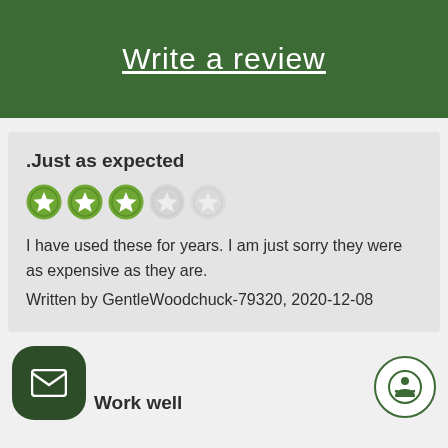Write a review
.Just as expected
[Figure (infographic): 3 filled green star rating circles and 2 empty/grey star rating circles indicating 3 out of 5 stars]
I have used these for years. I am just sorry they were as expensive as they are.
Written by GentleWoodchuck-79320, 2020-12-08
Work well